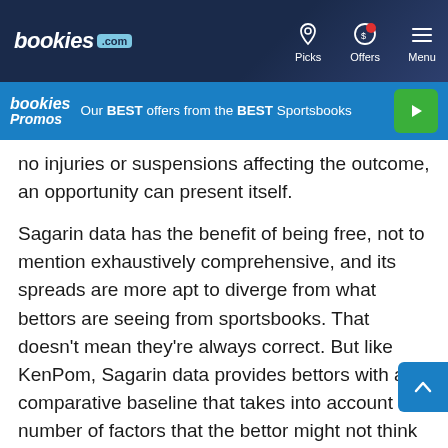bookies.com — Picks | Offers | Menu
[Figure (screenshot): Bookies Promos banner: Our BEST offers from the BEST Sportsbooks with green play button]
no injuries or suspensions affecting the outcome, an opportunity can present itself.
Sagarin data has the benefit of being free, not to mention exhaustively comprehensive, and its spreads are more apt to diverge from what bettors are seeing from sportsbooks. That doesn't mean they're always correct. But like KenPom, Sagarin data provides bettors with a comparative baseline that takes into account a number of factors that the bettor might not think about (or much less be able to calculate) on their own.
So, should bettors trust KenPom and Sagarin when